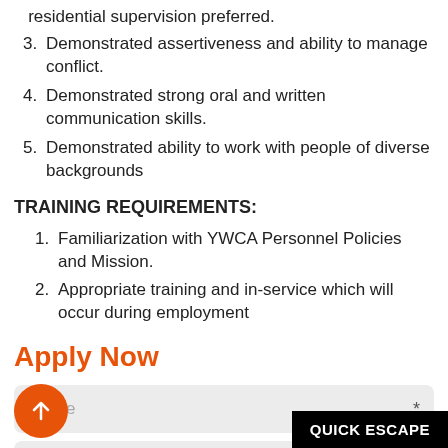residential supervision preferred.
Demonstrated assertiveness and ability to manage conflict.
Demonstrated strong oral and written communication skills.
Demonstrated ability to work with people of diverse backgrounds
TRAINING REQUIREMENTS:
Familiarization with YWCA Personnel Policies and Mission.
Appropriate training and in-service which will occur during employment
Apply Now
Name *
Email *
QUICK ESCAPE